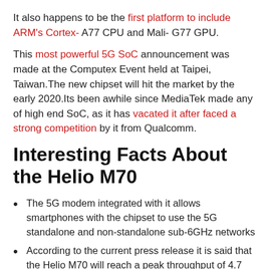It also happens to be the first platform to include ARM's Cortex- A77 CPU and Mali- G77 GPU.
This most powerful 5G SoC announcement was made at the Computex Event held at Taipei, Taiwan.The new chipset will hit the market by the early 2020.Its been awhile since MediaTek made any of high end SoC, as it has vacated it after faced a strong competition by it from Qualcomm.
Interesting Facts About the Helio M70
The 5G modem integrated with it allows smartphones with the chipset to use the 5G standalone and non-standalone sub-6GHz networks
According to the current press release it is said that the Helio M70 will reach a peak throughput of 4.7 Gbps download speed (on the sub-6CHz network)
It will also support 4K video encoding and decoding at